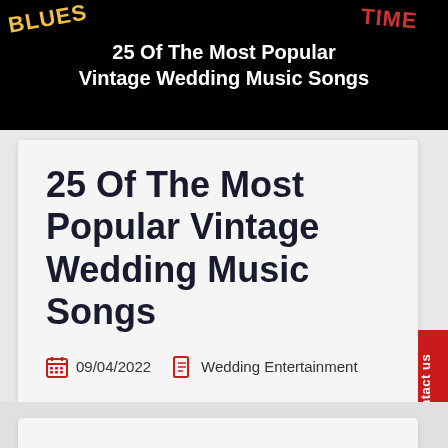[Figure (illustration): Black banner header with 'BLUES' in yellow angled text top-left, 'TIME' in red angled text top-right, and centered white bold text reading '25 Of The Most Popular Vintage Wedding Music Songs']
25 Of The Most Popular Vintage Wedding Music Songs
09/04/2022   Wedding Entertainment
Read More >